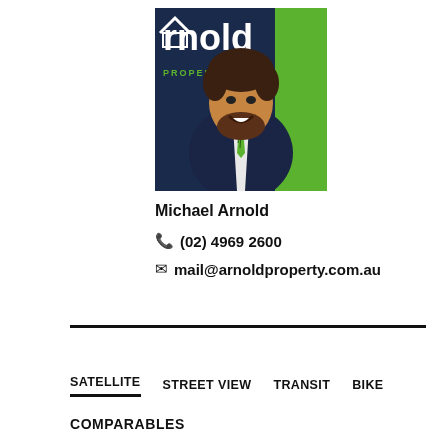[Figure (photo): Professional headshot of Michael Arnold in a dark suit with a green striped tie, in front of an Arnold Property branded backdrop with navy and green colors.]
Michael Arnold
📞 (02) 4969 2600
✉ mail@arnoldproperty.com.au
SATELLITE   STREET VIEW   TRANSIT   BIKE
COMPARABLES